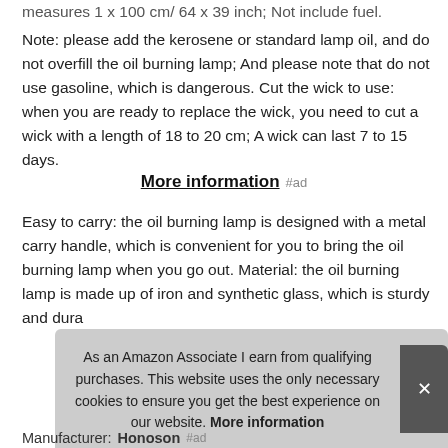measures 1 x 100 cm/ 64 x 39 inch; Not include fuel.
Note: please add the kerosene or standard lamp oil, and do not overfill the oil burning lamp; And please note that do not use gasoline, which is dangerous. Cut the wick to use: when you are ready to replace the wick, you need to cut a wick with a length of 18 to 20 cm; A wick can last 7 to 15 days.
More information #ad
Easy to carry: the oil burning lamp is designed with a metal carry handle, which is convenient for you to bring the oil burning lamp when you go out. Material: the oil burning lamp is made up of iron and synthetic glass, which is sturdy and dura
As an Amazon Associate I earn from qualifying purchases. This website uses the only necessary cookies to ensure you get the best experience on our website. More information
Manufacturer: Honoson #ad